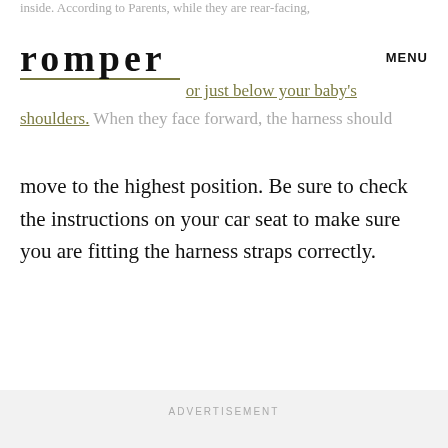inside. According to Parents, while they are rear-facing, or just below your baby's shoulders. When they face forward, the harness should
romper
MENU
move to the highest position. Be sure to check the instructions on your car seat to make sure you are fitting the harness straps correctly.
ADVERTISEMENT